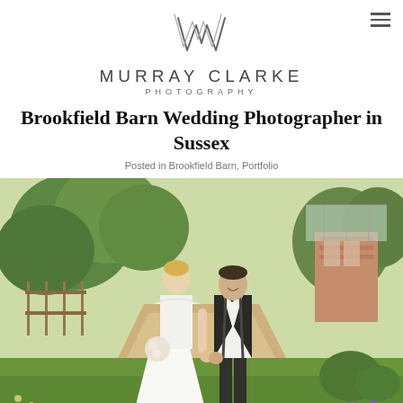MURRAY CLARKE PHOTOGRAPHY
Brookfield Barn Wedding Photographer in Sussex
Posted in Brookfield Barn, Portfolio
[Figure (photo): A bride in a white off-shoulder mermaid dress and groom in black tuxedo with suspenders and bow tie walk hand-in-hand along a garden path at Brookfield Barn, surrounded by lush green trees, wooden fencing, and a brick building in the background.]